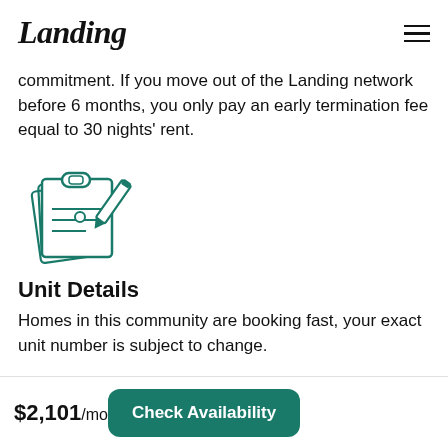Landing
commitment. If you move out of the Landing network before 6 months, you only pay an early termination fee equal to 30 nights' rent.
[Figure (illustration): Teal/green line-art icon of a clipboard with a pencil writing on it, stacked papers underneath.]
Unit Details
Homes in this community are booking fast, your exact unit number is subject to change.
$2,101/mo
Check Availability